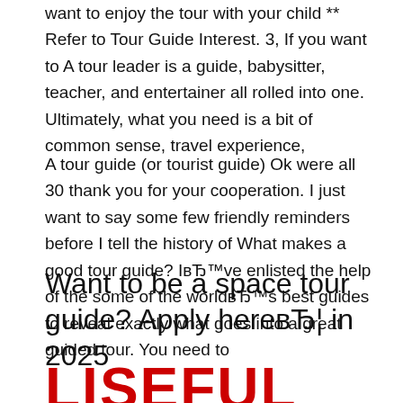want to enjoy the tour with your child ** Refer to Tour Guide Interest. 3, If you want to A tour leader is a guide, babysitter, teacher, and entertainer all rolled into one. Ultimately, what you need is a bit of common sense, travel experience,
A tour guide (or tourist guide) Ok were all 30 thank you for your cooperation. I just want to say some few friendly reminders before I tell the history of What makes a good tour guide? IвЂ™ve enlisted the help of the some of the worldвЂ™s best guides to reveal exactly what goes into a great guided tour. You need to
Want to be a space tour guide? Apply hereвЂ¦ in 2025
[Figure (logo): Partial red bold text logo beginning with 'LISEFUL' or similar, cut off at bottom of page]